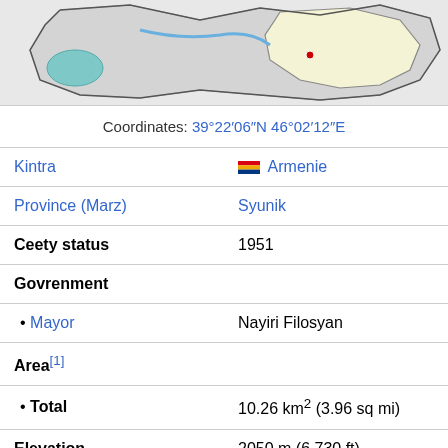[Figure (map): Map showing location in Armenia/Syunik region]
Coordinates: 39°22′06″N 46°02′12″E
| Kintra | Armenie |
| Province (Marz) | Syunik |
| Ceety status | 1951 |
| Govrenment |  |
| • Mayor | Nayiri Filosyan |
| Area[1] |  |
| • Total | 10.26 km² (3.96 sq mi) |
| Elevation | 2050 m (6,730 ft) |
| Population (2010) |  |